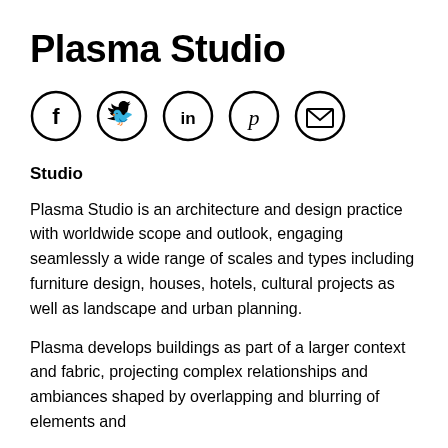Plasma Studio
[Figure (illustration): Five circular social media icons: Facebook (f), Twitter (bird), LinkedIn (in), Pinterest (p), and Email (envelope)]
Studio
Plasma Studio is an architecture and design practice with worldwide scope and outlook, engaging seamlessly a wide range of scales and types including furniture design, houses, hotels, cultural projects as well as landscape and urban planning.
Plasma develops buildings as part of a larger context and fabric, projecting complex relationships and ambiances shaped by overlapping and blurring of elements and